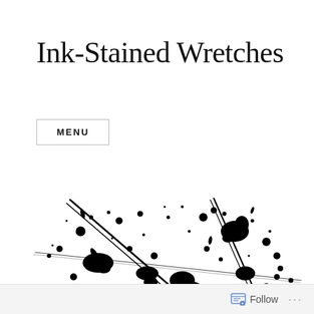Ink-Stained Wretches
MENU
[Figure (illustration): Black ink splatter illustration showing ink drops, splashes, and pen/quill strokes scattered across the image, resembling an ink spill on white background.]
Follow ...